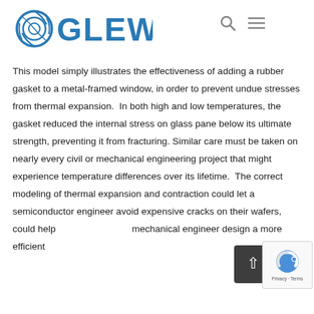[Figure (logo): GLEW Engineering logo with circular gear/globe icon and blue text reading GLEW]
This model simply illustrates the effectiveness of adding a rubber gasket to a metal-framed window, in order to prevent undue stresses from thermal expansion.  In both high and low temperatures, the gasket reduced the internal stress on glass pane below its ultimate strength, preventing it from fracturing. Similar care must be taken on nearly every civil or mechanical engineering project that might experience temperature differences over its lifetime.  The correct modeling of thermal expansion and contraction could let a semiconductor engineer avoid expensive cracks on their wafers, could help a mechanical engineer design a more efficient internal combustion engine, and help countless other engineers avoid costly mistakes.